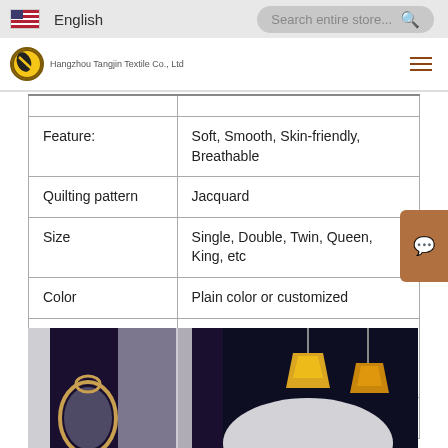English | Search entire store...
[Figure (screenshot): Brand logo and navigation bar for Hangzhou Tangjin Textile Co., Ltd]
| Feature: | Soft, Smooth, Skin-friendly, Breathable |
| Quilting pattern | Jacquard |
| Size | Single, Double, Twin, Queen, King, etc |
| Color | Plain color or customized |
| Standard packing | Poly bag + Customized color paper insert + Cardboard + Export Carton |
| Certification | BSCI, RDS, FDA |
[Figure (photo): Product room scene photo showing bedding with mirror and chandeliers]